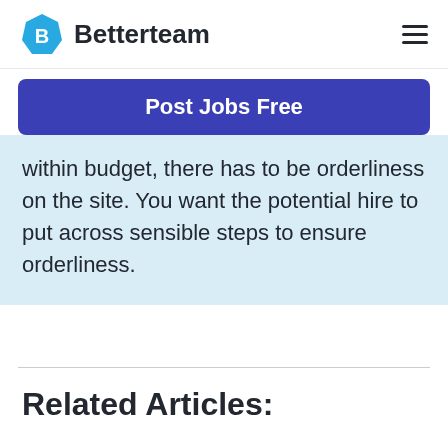Betterteam
[Figure (logo): Betterteam logo with blue hexagon icon and 'Betterteam' text, plus hamburger menu icon on right]
Post Jobs Free
within budget, there has to be orderliness on the site. You want the potential hire to put across sensible steps to ensure orderliness.
Related Articles: